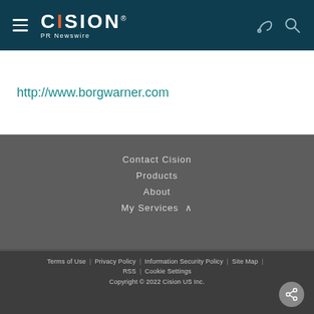Cision PR Newswire
http://www.borgwarner.com
Contact Cision
Products
About
My Services
Cision Distribution Helpline
888-776-0942
Terms of Use | Privacy Policy | Information Security Policy | Site Map | RSS | Cookie Settings
Copyright © 2022 Cision US Inc.